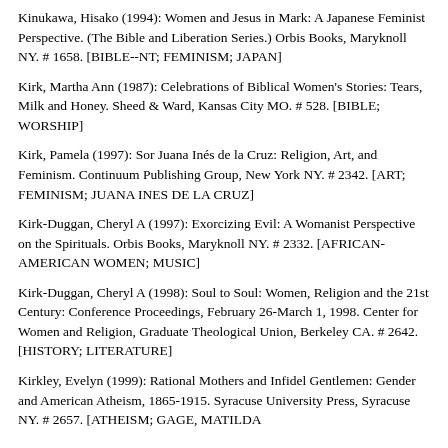Kinukawa, Hisako (1994): Women and Jesus in Mark: A Japanese Feminist Perspective. (The Bible and Liberation Series.) Orbis Books, Maryknoll NY. # 1658. [BIBLE--NT; FEMINISM; JAPAN]
Kirk, Martha Ann (1987): Celebrations of Biblical Women's Stories: Tears, Milk and Honey. Sheed & Ward, Kansas City MO. # 528. [BIBLE; WORSHIP]
Kirk, Pamela (1997): Sor Juana Inés de la Cruz: Religion, Art, and Feminism. Continuum Publishing Group, New York NY. # 2342. [ART; FEMINISM; JUANA INES DE LA CRUZ]
Kirk-Duggan, Cheryl A (1997): Exorcizing Evil: A Womanist Perspective on the Spirituals. Orbis Books, Maryknoll NY. # 2332. [AFRICAN-AMERICAN WOMEN; MUSIC]
Kirk-Duggan, Cheryl A (1998): Soul to Soul: Women, Religion and the 21st Century: Conference Proceedings, February 26-March 1, 1998. Center for Women and Religion, Graduate Theological Union, Berkeley CA. # 2642. [HISTORY; LITERATURE]
Kirkley, Evelyn (1999): Rational Mothers and Infidel Gentlemen: Gender and American Atheism, 1865-1915. Syracuse University Press, Syracuse NY. # 2657. [ATHEISM; GAGE, MATILDA…